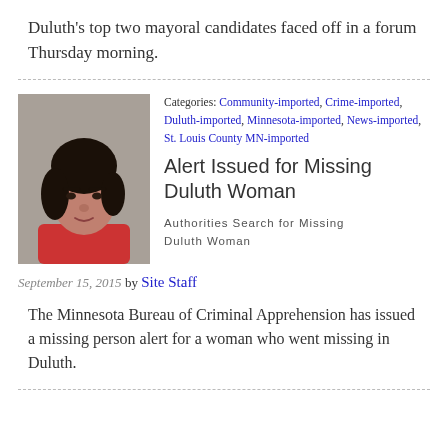Duluth's top two mayoral candidates faced off in a forum Thursday morning.
[Figure (photo): Mugshot-style photo of a middle-aged woman with dark hair wearing a red top, against a gray background.]
Categories: Community-imported, Crime-imported, Duluth-imported, Minnesota-imported, News-imported, St. Louis County MN-imported
Alert Issued for Missing Duluth Woman
Authorities Search for Missing Duluth Woman
September 15, 2015 by Site Staff
The Minnesota Bureau of Criminal Apprehension has issued a missing person alert for a woman who went missing in Duluth.